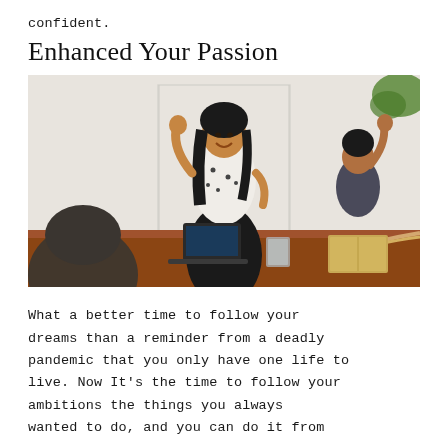confident.
Enhanced Your Passion
[Figure (photo): A woman in a white blouse standing at the head of a meeting table, pumping her fist in celebration. Other meeting attendees are visible in the foreground with laptops, notebooks, and pencils on the table.]
What a better time to follow your dreams than a reminder from a deadly pandemic that you only have one life to live. Now It's the time to follow your ambitions the things you always wanted to do, and you can do it from